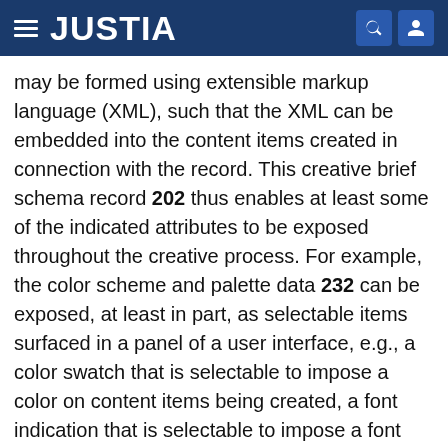JUSTIA
may be formed using extensible markup language (XML), such that the XML can be embedded into the content items created in connection with the record. This creative brief schema record 202 thus enables at least some of the indicated attributes to be exposed throughout the creative process. For example, the color scheme and palette data 232 can be exposed, at least in part, as selectable items surfaced in a panel of a user interface, e.g., a color swatch that is selectable to impose a color on content items being created, a font indication that is selectable to impose a font family and size on text in the content items being created, and so on.
The data of the creative brief schema record 202 can also be incorporated into analytics. By way of example, the marketing analytics system 108 can generate